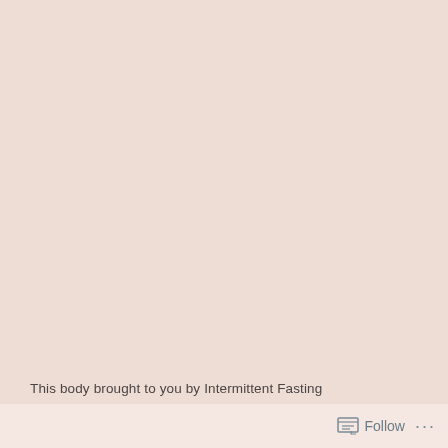[Figure (illustration): Large solid pinkish-beige background area filling most of the page]
This body brought to you by Intermittent Fasting
Follow ...